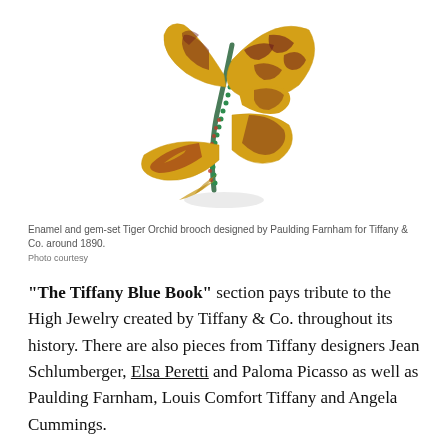[Figure (photo): Enamel and gem-set Tiger Orchid brooch with yellow enamel petals decorated with dark red/maroon pattern, a curved stem set with green gemstones and pink/red stones, designed by Paulding Farnham for Tiffany & Co. around 1890.]
Enamel and gem-set Tiger Orchid brooch designed by Paulding Farnham for Tiffany & Co. around 1890.
Photo courtesy
“The Tiffany Blue Book” section pays tribute to the High Jewelry created by Tiffany & Co. throughout its history. There are also pieces from Tiffany designers Jean Schlumberger, Elsa Peretti and Paloma Picasso as well as Paulding Farnham, Louis Comfort Tiffany and Angela Cummings.